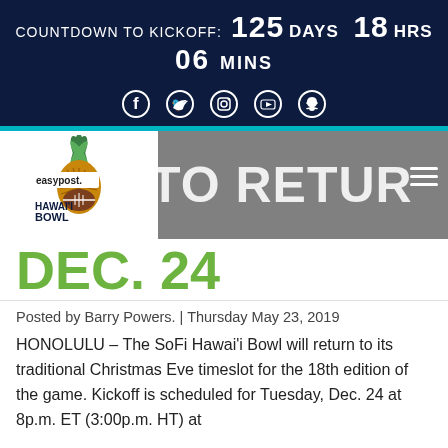COUNTDOWN TO KICKOFF: 125 DAYS  18 HRS  06 MINS
[Figure (screenshot): Social media icons row: Facebook, Twitter, Instagram, YouTube, Snapchat]
[Figure (logo): EasyPost Hawaii Bowl logo with pineapple and football]
TO RETURN TO DEC. 24
Posted by Barry Powers. | Thursday May 23, 2019
HONOLULU – The SoFi Hawai'i Bowl will return to its traditional Christmas Eve timeslot for the 18th edition of the game. Kickoff is scheduled for Tuesday, Dec. 24 at 8p.m. ET (3:00p.m. HT) at